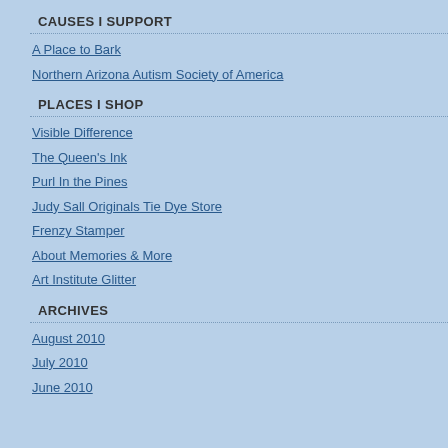CAUSES I SUPPORT
A Place to Bark
Northern Arizona Autism Society of America
PLACES I SHOP
Visible Difference
The Queen's Ink
Purl In the Pines
Judy Sall Originals Tie Dye Store
Frenzy Stamper
About Memories & More
Art Institute Glitter
ARCHIVES
August 2010
July 2010
June 2010
[Figure (photo): AeroGarden PRO 100 indoor herb garden with growing herbs under LED light]
since th... them a... herbs, a... tomatoe... outdoor... been fa... to give... garden... little maintainence, I had to delay setting ... Christmas adventure. Can you guess what... Kris...
The class schedule should be going up on... about our Most Excellent Christmas Adve... even had a great time being stuck in Ama... (with some fun links) as soon as I'm done...
Happy New Year! Bless us every one! Th...
Posted at 12:47 PM | Permalink | Comments (0) |
Reblog (0) | Ding This | Tweet